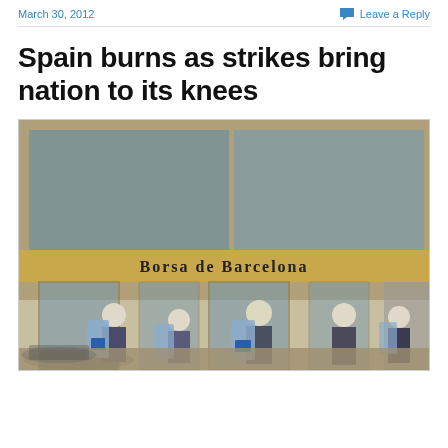March 30, 2012
Leave a Reply
Spain burns as strikes bring nation to its knees
[Figure (photo): Riot police in helmets and shields standing in front of the Borsa de Barcelona (Barcelona Stock Exchange) entrance, with debris on the ground.]